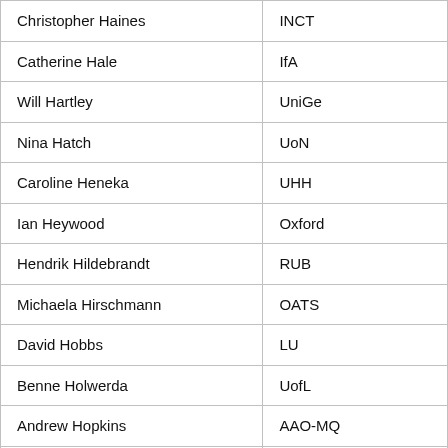| Christopher Haines | INCT |
| Catherine Hale | IfA |
| Will Hartley | UniGe |
| Nina Hatch | UoN |
| Caroline Heneka | UHH |
| Ian Heywood | Oxford |
| Hendrik Hildebrandt | RUB |
| Michaela Hirschmann | OATS |
| David Hobbs | LU |
| Benne Holwerda | UofL |
| Andrew Hopkins | AAO-MQ |
| Angela Iovino | OAB |
| Pascale Jablonka | EPFL |